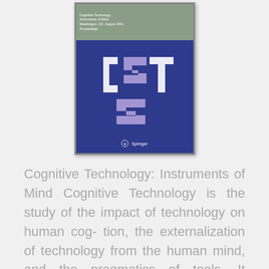[Figure (photo): Book cover of 'Cognitive Technology: Instruments of Mind' published by Springer, featuring a blue background with stylized 3D letter shapes in white/light colors forming an abstract logo, and a sage green left sidebar strip with small text.]
Cognitive Technology: Instruments of Mind Cognitive Technology is the study of the impact of technology on human cog- tion, the externalization of technology from the human mind, and the pragmatics of tools. It promotes the view that human beings should develop methods to p- dict, analyse, and optimize aspects of human-tool relationship in a manner that respects human wholeness. In particular the development of new tools such as virtual environments, new computer devices, and software tools has been too little concerned